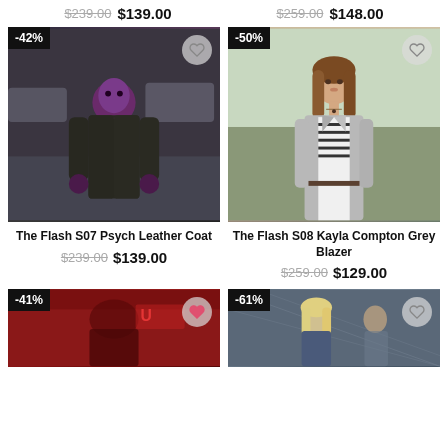$239.00  $139.00   $259.00  $148.00
[Figure (photo): Product photo: The Flash S07 Psych Leather Coat, shown on a purple-faced character in a dark coat on a street. Badge: -42%]
[Figure (photo): Product photo: The Flash S08 Kayla Compton Grey Blazer, shown on a woman wearing a grey blazer over a striped shirt. Badge: -50%]
The Flash S07 Psych Leather Coat
The Flash S08 Kayla Compton Grey Blazer
$239.00  $139.00
$259.00  $129.00
[Figure (photo): Product photo (partial): another Flash-related jacket, red-toned. Badge: -41%]
[Figure (photo): Product photo (partial): blonde woman in costume, dark background. Badge: -61%]